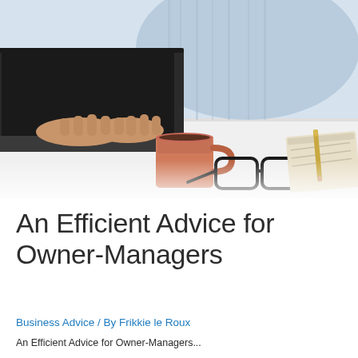[Figure (photo): A person typing on a laptop at a white desk with a terracotta/salmon colored coffee mug, black-framed glasses, and a notepad with pencil visible. The person is wearing a light blue striped shirt. The photo has a bright, airy feel with soft lighting.]
An Efficient Advice for Owner-Managers
Business Advice / By Frikkie le Roux
An Efficient Advice for Owner-Managers...